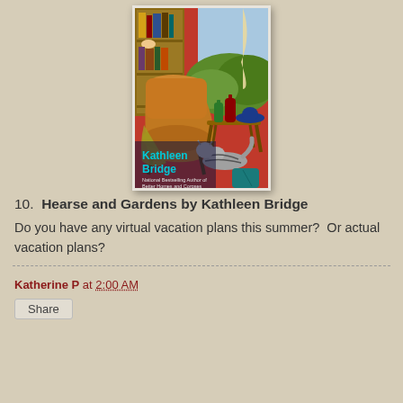[Figure (illustration): Book cover of 'Hearse and Gardens' by Kathleen Bridge showing a mid-century modern interior scene with a cat, armchair, bookshelf, and side table with colorful bottles, with a view of grass dunes outside the window. Author credited as National Bestselling Author of Better Homes and Corpses.]
10.  Hearse and Gardens by Kathleen Bridge
Do you have any virtual vacation plans this summer?  Or actual vacation plans?
Katherine P at 2:00 AM
Share